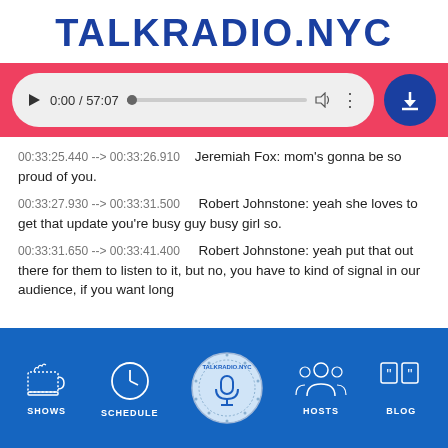TALKRADIO.NYC
[Figure (screenshot): Audio player UI with play button, time 0:00 / 57:07, progress bar, volume icon, and download button on a red background]
00:33:25.440 --> 00:33:26.910	Jeremiah Fox: mom's gonna be so proud of you.
00:33:27.930 --> 00:33:31.500	Robert Johnstone: yeah she loves to get that update you're busy guy busy girl so.
00:33:31.650 --> 00:33:41.400	Robert Johnstone: yeah put that out there for them to listen to it, but no, you have to kind of signal in our audience, if you want long
[Figure (infographic): TalkRadio.NYC footer navigation with icons for SHOWS (coffee cup), SCHEDULE (clock), center logo (microphone in circle), HOSTS (people), BLOG (quotation marks)]